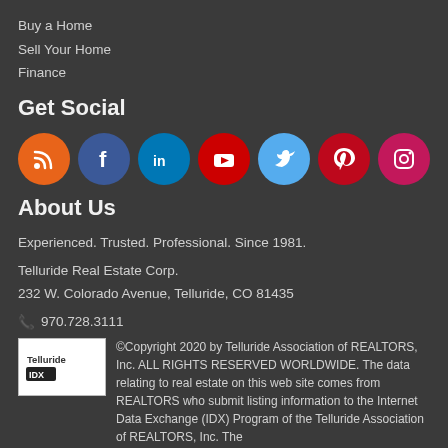Buy a Home
Sell Your Home
Finance
Get Social
[Figure (illustration): Row of social media icon circles: RSS (orange), Facebook (blue), LinkedIn (teal), YouTube (red), Twitter (light blue), Pinterest (red), Instagram (pink/magenta)]
About Us
Experienced. Trusted. Professional. Since 1981.
Telluride Real Estate Corp.
232 W. Colorado Avenue, Telluride, CO 81435
☎ 970.728.3111
©Copyright 2020 by Telluride Association of REALTORS, Inc. ALL RIGHTS RESERVED WORLDWIDE. The data relating to real estate on this web site comes from REALTORS who submit listing information to the Internet Data Exchange (IDX) Program of the Telluride Association of REALTORS, Inc. The